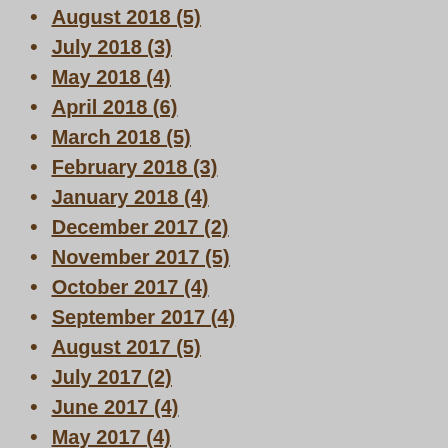August 2018 (5)
July 2018 (3)
May 2018 (4)
April 2018 (6)
March 2018 (5)
February 2018 (3)
January 2018 (4)
December 2017 (2)
November 2017 (5)
October 2017 (4)
September 2017 (4)
August 2017 (5)
July 2017 (2)
June 2017 (4)
May 2017 (4)
April 2017 (5)